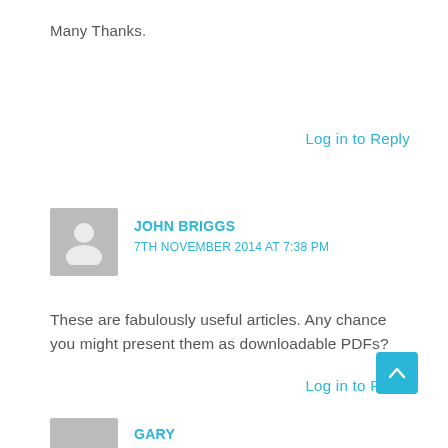Many Thanks.
Log in to Reply
JOHN BRIGGS
7TH NOVEMBER 2014 AT 7:38 PM
These are fabulously useful articles. Any chance you might present them as downloadable PDFs?
Log in to Reply
GARY